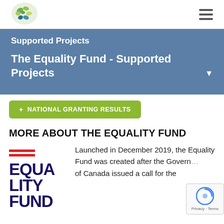Supported Projects
The Equality Fund - Supported Projects
NATIONAL GRANTING RESULTS
MORE ABOUT THE EQUALITY FUND
[Figure (logo): Equality Fund logo with red horizontal lines and dark blue bold text reading EQUALITY FUND]
Launched in December 2019, the Equality Fund was created after the Government of Canada issued a call for the